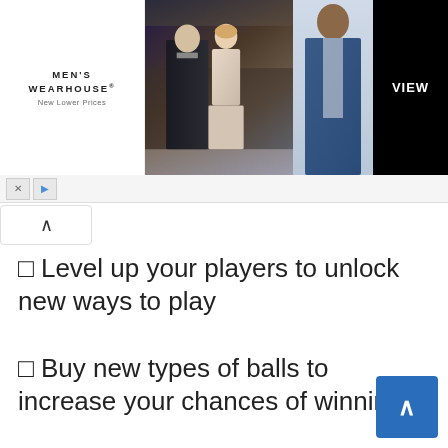[Figure (photo): Men's Wearhouse advertisement banner showing a couple in formal wear and a man in a blue suit, with a VIEW button]
⬜ Level up your players to unlock new ways to play
⬜ Buy new types of balls to increase your chances of winning!